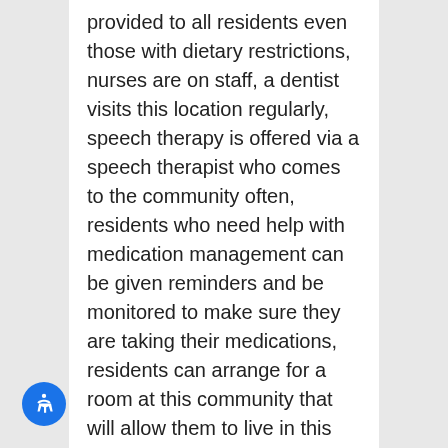provided to all residents even those with dietary restrictions, nurses are on staff, a dentist visits this location regularly, speech therapy is offered via a speech therapist who comes to the community often, residents who need help with medication management can be given reminders and be monitored to make sure they are taking their medications, residents can arrange for a room at this community that will allow them to live in this location whatever their healthcare needs are and become, and this community was built in 1989.